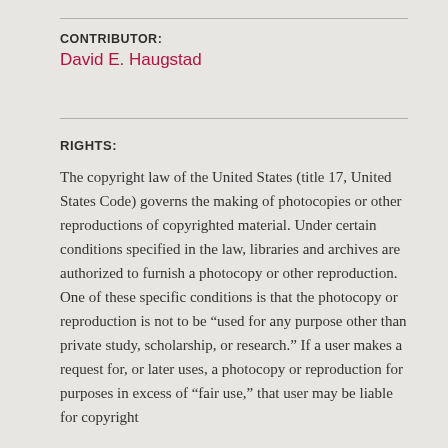CONTRIBUTOR:
David E. Haugstad
RIGHTS:
The copyright law of the United States (title 17, United States Code) governs the making of photocopies or other reproductions of copyrighted material. Under certain conditions specified in the law, libraries and archives are authorized to furnish a photocopy or other reproduction. One of these specific conditions is that the photocopy or reproduction is not to be “used for any purpose other than private study, scholarship, or research.” If a user makes a request for, or later uses, a photocopy or reproduction for purposes in excess of “fair use,” that user may be liable for copyright